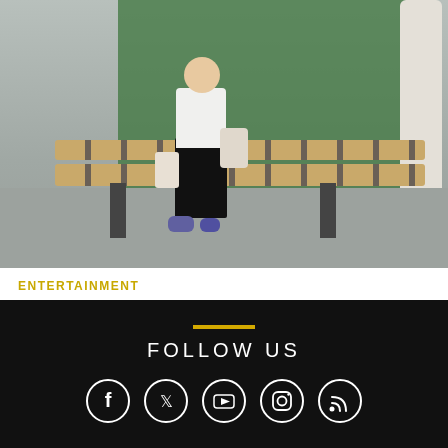[Figure (photo): Person sitting on a wooden bench outdoors on a pavement, wearing black trousers and white top with a bag, green board and white column in background.]
ENTERTAINMENT
Spotlight on Nottingham: Interview – Kid Trash
Read More
FOLLOW US